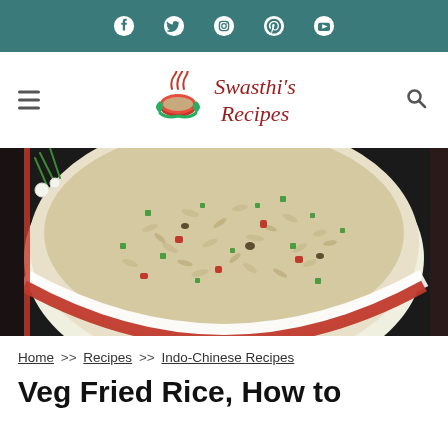Social media icons bar (Facebook, Twitter, Instagram, Pinterest, YouTube)
[Figure (logo): Swasthi's Recipes logo with steam rising from a bowl and green leaf/bowl icon]
[Figure (photo): A white bowl with red rim filled with vegetable fried rice, topped with chopped green onions and red bell peppers, on a dark background]
Home >> Recipes >> Indo-Chinese Recipes
Veg Fried Rice, How to